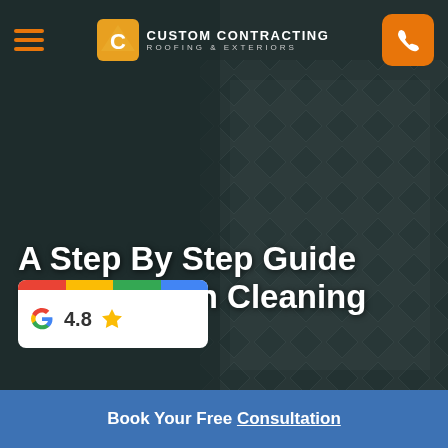Custom Contracting Roofing & Exteriors
[Figure (screenshot): Dark background photo of eavestrough/gutter mesh with diamond pattern, dark teal/grey overlay, person's gloved hand visible]
A Step By Step Guide Eavestrough Cleaning
[Figure (logo): Google rating badge showing 4.8 stars with Google G logo and colored stripe at top]
Book Your Free Consultation